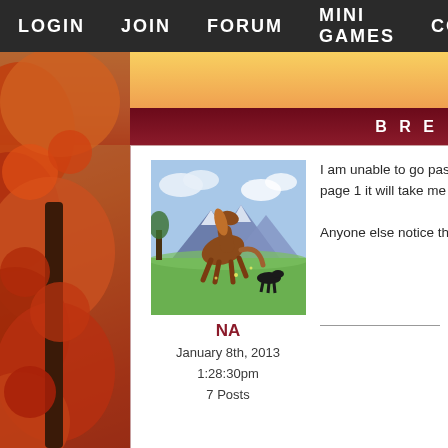LOGIN   JOIN   FORUM   MINI GAMES   CON
BRE
[Figure (illustration): Fantasy game avatar: a brown horse rearing up with a black dog in a mountain meadow landscape]
NA
January 8th, 2013
1:28:30pm
7 Posts
I am unable to go past the ... past page 1 it will take me b...

Anyone else notice this?